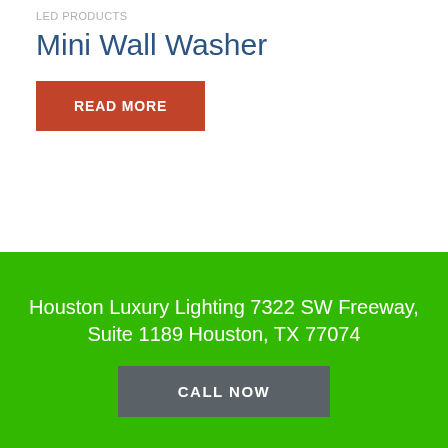LED PRODUCTS
Mini Wall Washer
READ MORE
Houston Luxury Lighting 7322 SW Freeway, Suite 1189 Houston, TX 77074
CALL NOW